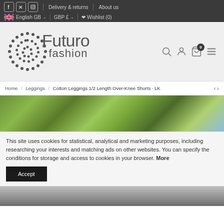f  Twitter  Instagram  |  Delivery & returns  |  About us  |  English GB  |  GBP £  |  Wishlist (0)
[Figure (logo): Futuro Fashion logo with circular dotted emblem and brand name]
Home / Leggings / Cotton Leggings 1/2 Length Over-Knee Shorts · LK
[Figure (photo): Product page header photo showing green leafy trees/foliage background]
This site uses cookies for statistical, analytical and marketing purposes, including researching your interests and matching ads on other websites. You can specify the conditions for storage and access to cookies in your browser. More
Accept
[Figure (photo): Bottom portion of product image showing model wearing leggings]